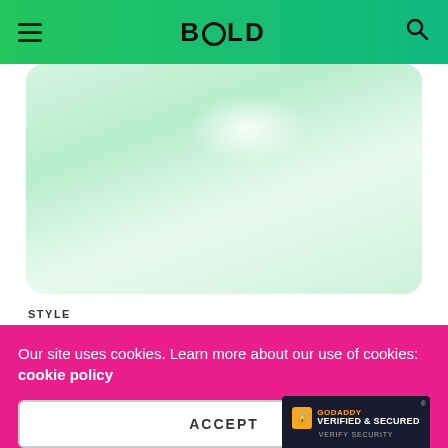BOLD
[Figure (photo): Light mint/green gradient background image, likely a fashion or lifestyle photo with soft lighting]
STYLE
Hues Of India; Feel Patriotic With United Colors Of Benetton.
Our site uses cookies. Learn more about our use of cookies: cookie policy
ACCEPT